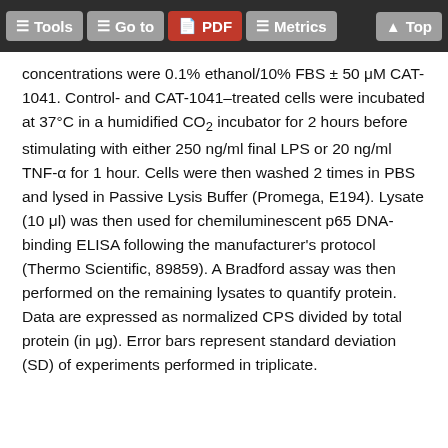Tools | Go to | PDF | Metrics | Top
concentrations were 0.1% ethanol/10% FBS ± 50 μM CAT-1041. Control- and CAT-1041–treated cells were incubated at 37°C in a humidified CO₂ incubator for 2 hours before stimulating with either 250 ng/ml final LPS or 20 ng/ml TNF-α for 1 hour. Cells were then washed 2 times in PBS and lysed in Passive Lysis Buffer (Promega, E194). Lysate (10 μl) was then used for chemiluminescent p65 DNA-binding ELISA following the manufacturer's protocol (Thermo Scientific, 89859). A Bradford assay was then performed on the remaining lysates to quantify protein. Data are expressed as normalized CPS divided by total protein (in μg). Error bars represent standard deviation (SD) of experiments performed in triplicate.